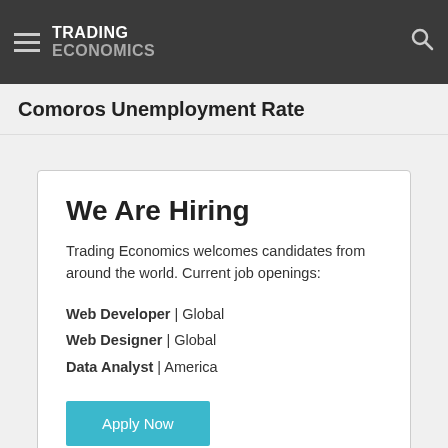TRADING ECONOMICS
Comoros Unemployment Rate
We Are Hiring
Trading Economics welcomes candidates from around the world. Current job openings:
Web Developer | Global
Web Designer | Global
Data Analyst | America
Apply Now